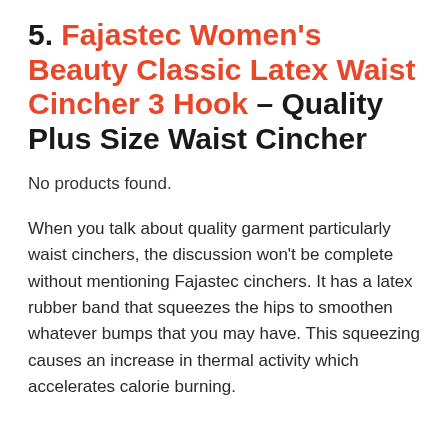5. Fajastec Women's Beauty Classic Latex Waist Cincher 3 Hook – Quality Plus Size Waist Cincher
No products found.
When you talk about quality garment particularly waist cinchers, the discussion won't be complete without mentioning Fajastec cinchers. It has a latex rubber band that squeezes the hips to smoothen whatever bumps that you may have. This squeezing causes an increase in thermal activity which accelerates calorie burning.